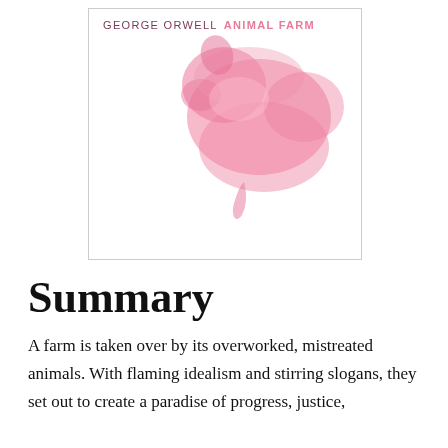[Figure (illustration): Book cover of Animal Farm by George Orwell. White background with author name 'GEORGE ORWELL' in dark rose and title 'ANIMAL FARM' in pink uppercase letters at the top. A pink/rose watercolor-style pig silhouette is visible in the upper right portion of the cover.]
Summary
A farm is taken over by its overworked, mistreated animals. With flaming idealism and stirring slogans, they set out to create a paradise of progress, justice,